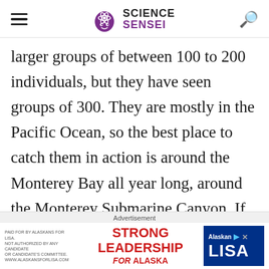Science Sensei
larger groups of between 100 to 200 individuals, but they have seen groups of 300. They are mostly in the Pacific Ocean, so the best place to catch them in action is around the Monterey Bay all year long, around the Monterey Submarine Canyon. If you want to get a glimpse of them, the best time of the year to see them is around the
Advertisement
[Figure (other): Advertisement banner: Strong Leadership for Alaska - Alaskan Lisa campaign ad]